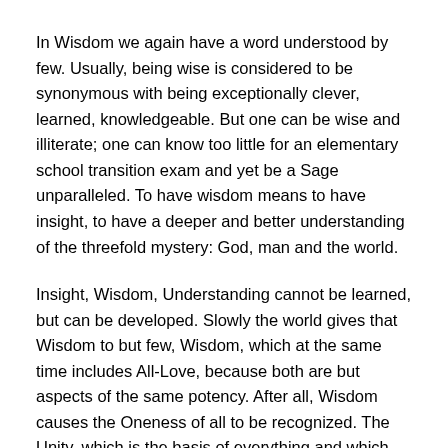In Wisdom we again have a word understood by few. Usually, being wise is considered to be synonymous with being exceptionally clever, learned, knowledgeable. But one can be wise and illiterate; one can know too little for an elementary school transition exam and yet be a Sage unparalleled. To have wisdom means to have insight, to have a deeper and better understanding of the threefold mystery: God, man and the world.
Insight, Wisdom, Understanding cannot be learned, but can be developed. Slowly the world gives that Wisdom to but few, Wisdom, which at the same time includes All-Love, because both are but aspects of the same potency. After all, Wisdom causes the Oneness of all to be recognized. The Unity, which is the basis of everything and which the ordinary man, who only sees the separateness in the World of phenomena, does not realize, becomes more and more reality for him in whom Wisdom develops. And this understanding of the Oneness, this